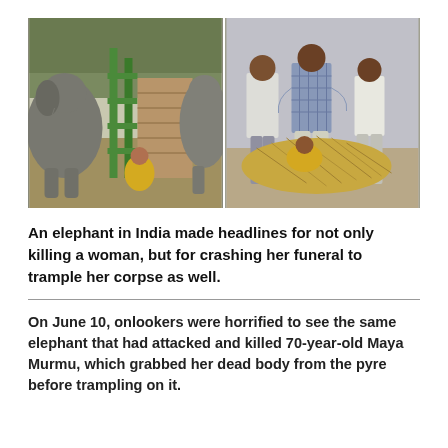[Figure (photo): Two side-by-side video stills. Left: elephants near a green metal enclosure/cage structure. Right: several men standing with their backs to the camera, looking down at a pile of sugarcane stalks or brush on the ground.]
An elephant in India made headlines for not only killing a woman, but for crashing her funeral to trample her corpse as well.
On June 10, onlookers were horrified to see the same elephant that had attacked and killed 70-year-old Maya Murmu, which grabbed her dead body from the pyre before trampling on it.